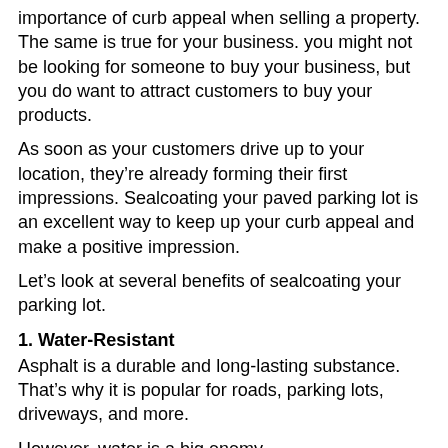importance of curb appeal when selling a property. The same is true for your business. you might not be looking for someone to buy your business, but you do want to attract customers to buy your products.
As soon as your customers drive up to your location, they're already forming their first impressions. Sealcoating your paved parking lot is an excellent way to keep up your curb appeal and make a positive impression.
Let's look at several benefits of sealcoating your parking lot.
1. Water-Resistant
Asphalt is a durable and long-lasting substance. That's why it is popular for roads, parking lots, driveways, and more.
However, water is a big enemy.
Asphalt is a porous material. This means that moisture can get down inside the asphalt. When it does, this speeds up degradation and deterioration of the pavement.